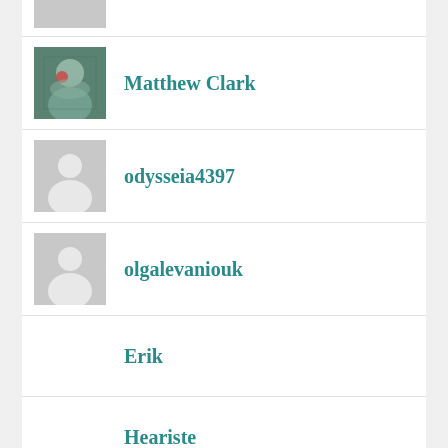(partial avatar at top)
Matthew Clark
odysseia4397
olgalevaniouk
Erik
Heariste
pluard
(partial name at bottom)